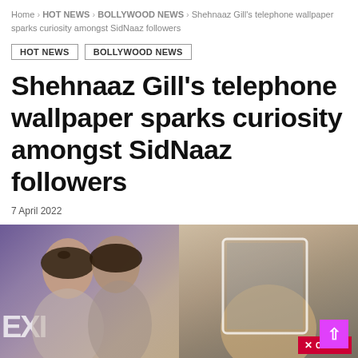Home > HOT NEWS > BOLLYWOOD NEWS > Shehnaaz Gill's telephone wallpaper sparks curiosity amongst SidNaaz followers
HOT NEWS
BOLLYWOOD NEWS
Shehnaaz Gill's telephone wallpaper sparks curiosity amongst SidNaaz followers
7 April 2022
[Figure (photo): Two-panel image: left panel shows a couple (man and woman) posing together at what appears to be an event; right panel shows a hand holding a smartphone with a close-up view, with a red CLOSE button overlay in the bottom right corner]